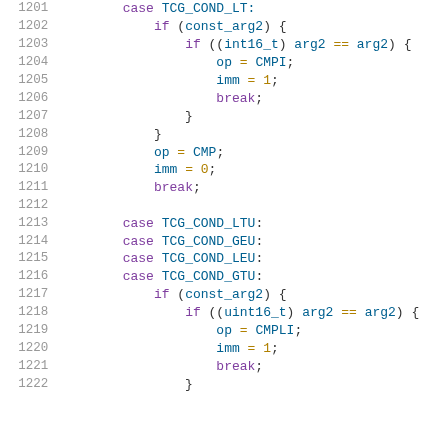Source code listing lines 1201-1222 showing C code with conditional logic for TCG comparison operations